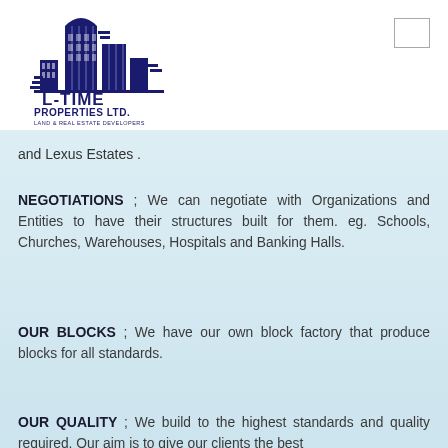[Figure (logo): L-Time Properties Ltd. logo — building silhouette above bold text 'L-TIME PROPERTIES LTD.' and tagline 'LAND & REAL ESTATE DEVELOPERS']
and Lexus Estates .
NEGOTIATIONS ; We can negotiate with Organizations and Entities to have their structures built for them. eg. Schools, Churches, Warehouses, Hospitals and Banking Halls.
OUR BLOCKS ; We have our own block factory that produce blocks for all standards.
OUR QUALITY ; We build to the highest standards and quality required. Our aim is to give our clients the best